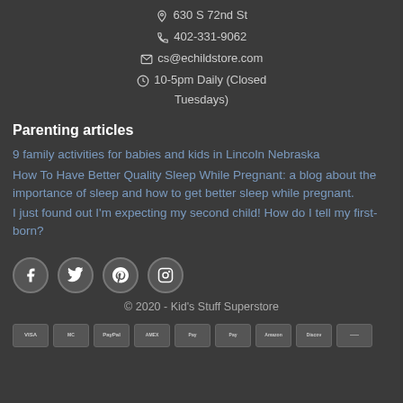630 S 72nd St
402-331-9062
cs@echildstore.com
10-5pm Daily (Closed Tuesdays)
Parenting articles
9 family activities for babies and kids in Lincoln Nebraska
How To Have Better Quality Sleep While Pregnant: a blog about the importance of sleep and how to get better sleep while pregnant.
I just found out I'm expecting my second child! How do I tell my first-born?
© 2020 - Kid's Stuff Superstore
[Figure (other): Social media icons: Facebook, Twitter, Pinterest, Instagram - circular buttons on dark background]
[Figure (other): Payment method icons: Visa, Mastercard, PayPal, American Express, Apple Pay, etc.]